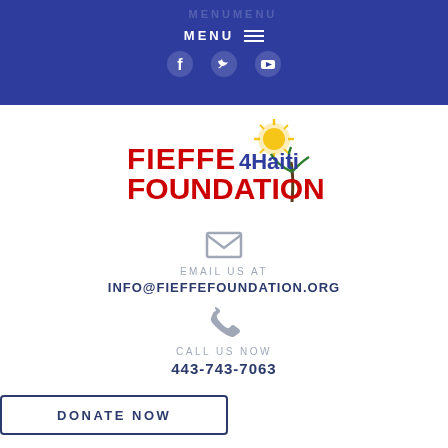MENU
[Figure (logo): FIEFFE 4Haiti FOUNDATION logo with sun and palm tree]
EMAIL US AT
INFO@FIEFFEFOUNDATION.ORG
CALL US NOW
443-743-7063
DONATE NOW